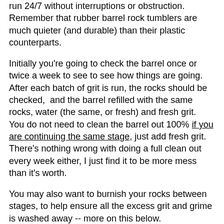run 24/7 without interruptions or obstruction. Remember that rubber barrel rock tumblers are much quieter (and durable) than their plastic counterparts.
Initially you're going to check the barrel once or twice a week to see to see how things are going. After each batch of grit is run, the rocks should be checked, and the barrel refilled with the same rocks, water (the same, or fresh) and fresh grit. You do not need to clean the barrel out 100% if you are continuing the same stage, just add fresh grit. There's nothing wrong with doing a full clean out every week either, I just find it to be more mess than it's worth.
You may also want to burnish your rocks between stages, to help ensure all the excess grit and grime is washed away -- more on this below.